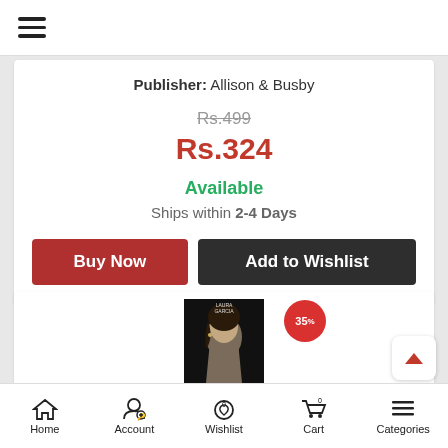[Figure (screenshot): Hamburger menu icon (three horizontal lines) in top navigation bar]
Publisher: Allison & Busby
Rs.499 (strikethrough original price)
Rs.324 (sale price in red)
Available
Ships within 2-4 Days
Buy Now
Add to Wishlist
[Figure (photo): Book cover showing a woman's face, partially visible, with 35% discount badge]
Home  Account  Wishlist  Cart  Categories